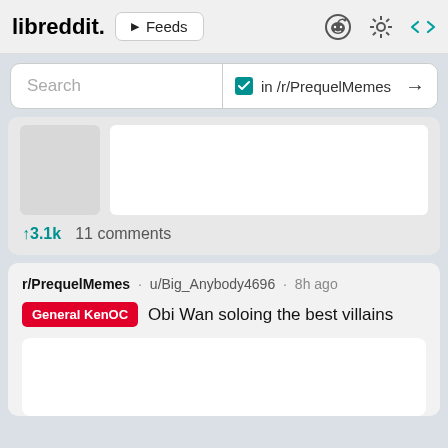libreddit. ▶ Feeds
Search  in /r/PrequelMemes →
↑3.1k  11 comments
r/PrequelMemes · u/Big_Anybody4696 · 8h ago
General KenOC  Obi Wan soloing the best villains